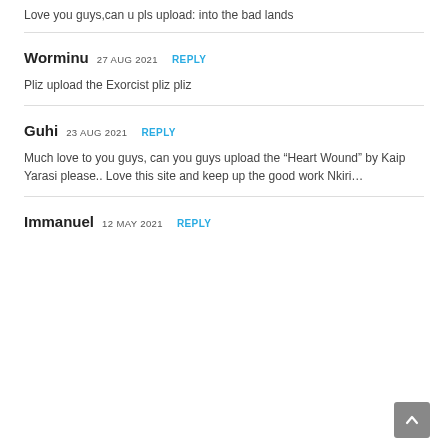Love you guys,can u pls upload: into the bad lands
Worminu 27 AUG 2021 REPLY
Pliz upload the Exorcist pliz pliz
Guhi 23 AUG 2021 REPLY
Much love to you guys, can you guys upload the “Heart Wound” by Kaip Yarasi please.. Love this site and keep up the good work Nkiri…
Immanuel 12 MAY 2021 REPLY